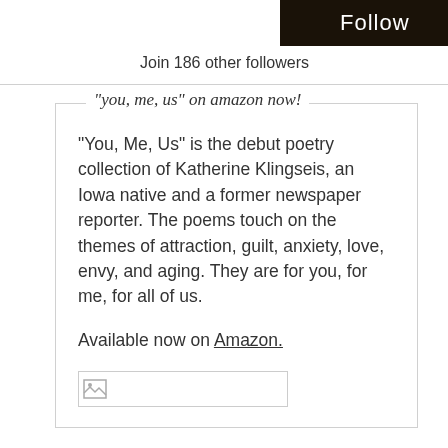[Figure (other): Follow button — dark brown/black rectangle with white text 'Follow']
Join 186 other followers
“you, me, us” on amazon now!
“You, Me, Us” is the debut poetry collection of Katherine Klingseis, an Iowa native and a former newspaper reporter. The poems touch on the themes of attraction, guilt, anxiety, love, envy, and aging. They are for you, for me, for all of us.
Available now on Amazon.
[Figure (other): Small broken/placeholder image thumbnail in a bordered box]